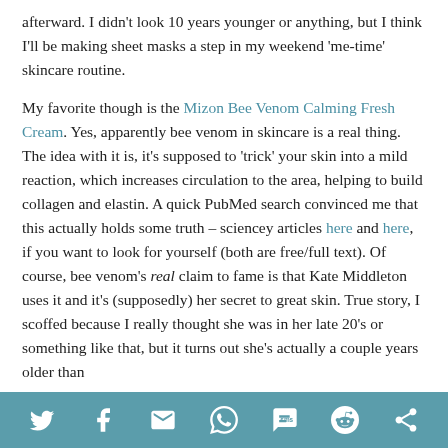afterward. I didn't look 10 years younger or anything, but I think I'll be making sheet masks a step in my weekend 'me-time' skincare routine.

My favorite though is the Mizon Bee Venom Calming Fresh Cream. Yes, apparently bee venom in skincare is a real thing. The idea with it is, it's supposed to 'trick' your skin into a mild reaction, which increases circulation to the area, helping to build collagen and elastin. A quick PubMed search convinced me that this actually holds some truth – sciencey articles here and here, if you want to look for yourself (both are free/full text). Of course, bee venom's real claim to fame is that Kate Middleton uses it and it's (supposedly) her secret to great skin. True story, I scoffed because I really thought she was in her late 20's or something like that, but it turns out she's actually a couple years older than
[social share icons: Twitter, Facebook, Email, WhatsApp, SMS, Reddit, Share]